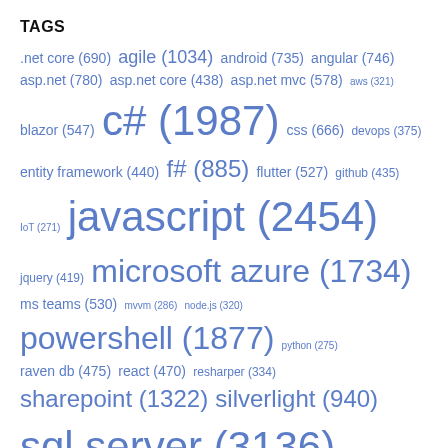TAGS
.net core (690) agile (1034) android (735) angular (746) asp.net (780) asp.net core (438) asp.net mvc (578) aws (321) blazor (547) c# (1987) css (666) devops (375) entity framework (440) f# (885) flutter (527) github (435) IoT (271) javascript (2454) jquery (419) microsoft azure (1734) ms teams (530) mvvm (286) node.js (320) powershell (1877) python (275) raven db (475) react (470) resharper (334) sharepoint (1322) silverlight (940) sql server (3136) tfs (331) typescript (610) uwp (559) visual studio (2434) vs2010 (696) vs